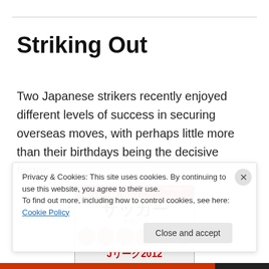Striking Out
Two Japanese strikers recently enjoyed different levels of success in securing overseas moves, with perhaps little more than their birthdays being the decisive factor…
[Figure (photo): Cover of a Japanese soccer magazine (サッカーマガジン) featuring Jリーグ2012 with player photos and red banner]
Privacy & Cookies: This site uses cookies. By continuing to use this website, you agree to their use.
To find out more, including how to control cookies, see here: Cookie Policy

Close and accept